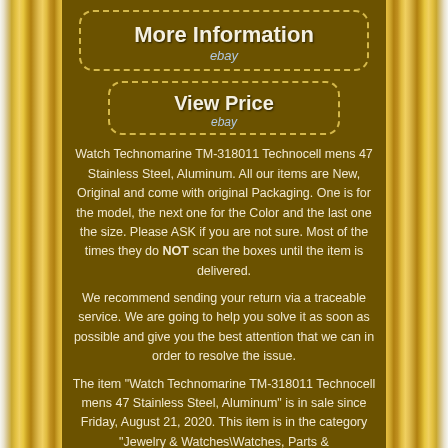[Figure (other): Button graphic: 'More Information' with ebay text, dashed border, on dark golden brown background]
[Figure (other): Button graphic: 'View Price' with ebay text, dashed border, on dark golden brown background]
Watch Technomarine TM-318011 Technocell mens 47 Stainless Steel, Aluminum. All our items are New, Original and come with original Packaging. One is for the model, the next one for the Color and the last one the size. Please ASK if you are not sure. Most of the times they do NOT scan the boxes until the item is delivered.
We recommend sending your return via a traceable service. We are going to help you solve it as soon as possible and give you the best attention that we can in order to resolve the issue.
The item "Watch Technomarine TM-318011 Technocell mens 47 Stainless Steel, Aluminum" is in sale since Friday, August 21, 2020. This item is in the category "Jewelry & Watches\Watches, Parts & Accessories\Men's Watches". The seller